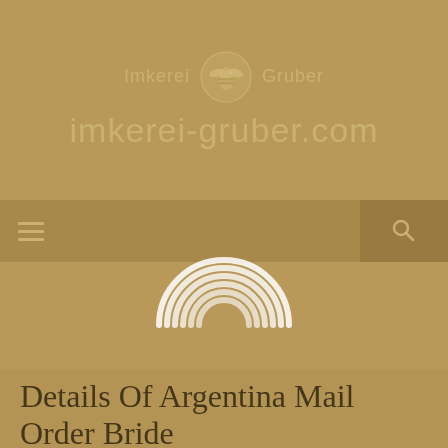Imkerei Gruber — imkerei-gruber.com
[Figure (logo): Imkerei Gruber logo with bee icon in a circle, and website URL imkerei-gruber.com below]
[Figure (other): Navigation bar with hamburger menu icon on left and search icon on right, with a rainbow/loading spinner icon overlaid in the center]
Details Of Argentina Mail Order Bride
21. Januar 2021 | digr | 0 Comment | 21:55
"Some of the G.I.s have been upset that we have been